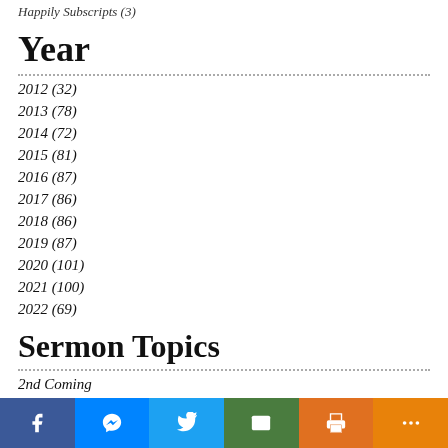Happily Subscripts (3)
Year
2012 (32)
2013 (78)
2014 (72)
2015 (81)
2016 (87)
2017 (86)
2018 (86)
2019 (87)
2020 (101)
2021 (100)
2022 (69)
Sermon Topics
2nd Coming